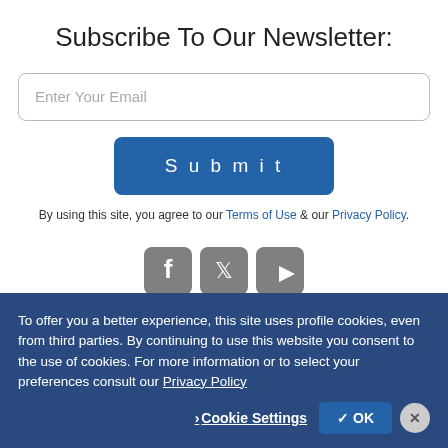Subscribe To Our Newsletter:
[Figure (other): Email input field with placeholder text 'Enter Your Email']
[Figure (other): Submit button with blue background and white text 'Submit']
By using this site, you agree to our Terms of Use & our Privacy Policy.
[Figure (other): Three social media icons: Facebook, Twitter, YouTube — grey rounded square icons]
To offer you a better experience, this site uses profile cookies, even from third parties. By continuing to use this website you consent to the use of cookies. For more information or to select your preferences consult our Privacy Policy
› Cookie Settings  ✓ OK  ✕